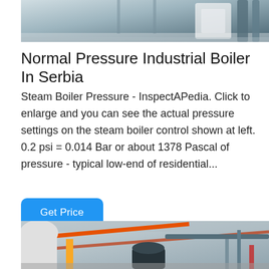[Figure (photo): Top portion of an industrial boiler facility interior, partially cropped at top of page]
Normal Pressure Industrial Boiler In Serbia
Steam Boiler Pressure - InspectAPedia. Click to enlarge and you can see the actual pressure settings on the steam boiler control shown at left. 0.2 psi = 0.014 Bar or about 1378 Pascal of pressure - typical low-end of residential...
Get Price
[Figure (photo): Industrial boiler room interior showing large cylindrical boilers, pipes (orange, yellow, red), and ceiling structure with industrial fittings]